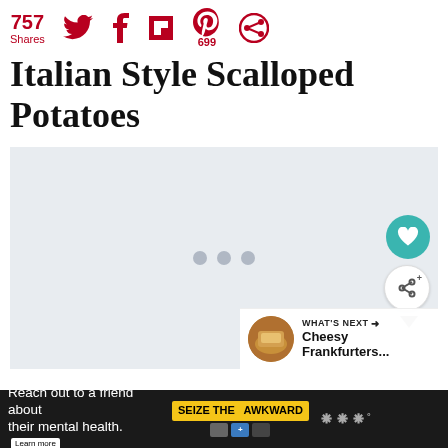757 Shares
Italian Style Scalloped Potatoes
[Figure (photo): Loading placeholder for Italian Style Scalloped Potatoes recipe image with action buttons (heart/save, share) and a 'What's Next' overlay showing Cheesy Frankfurters...]
[Figure (infographic): Advertisement bar: 'Reach out to a friend about their mental health. Learn more' with SEIZE THE AWKWARD badge and Ad Council logos]